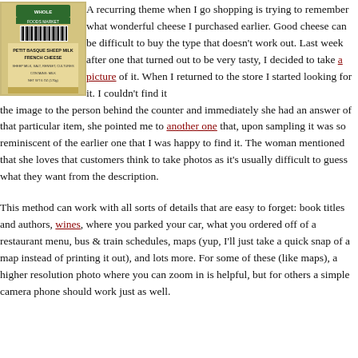[Figure (photo): A photograph of a packaged cheese product from Whole Foods, showing a label for 'Petit Basque Sheep Milk French Cheese'.]
A recurring theme when I go shopping is trying to remember what wonderful cheese I purchased earlier. Good cheese can be difficult to buy the type that doesn't work out. Last week after one that turned out to be very tasty, I decided to take a picture of it. When I returned to the store I started looking for it. I couldn't find it showed the image to the person behind the counter and immediately she had an answer of that particular item, she pointed me to another one that, upon sampling it was so reminiscent of the earlier one that I was happy to find it. The woman mentioned that she loves that customers think to take photos as it's usually difficult to guess what they want from the description. This method can work with all sorts of details that are easy to forget: book titles and authors, wines, where you parked your car, what you ordered off of a restaurant menu, bus & train schedules, maps (yup, I'll just take a quick snapshot of a map instead of printing it out), and lots more. For some of these (like maps), a higher resolution photo where you can zoom in is helpful, but for others a simple camera phone should work just as well.